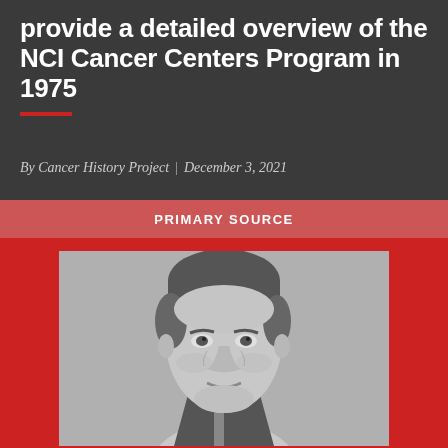provide a detailed overview of the NCI Cancer Centers Program in 1975
By Cancer History Project | December 3, 2021
PRIMARY SOURCE
[Figure (photo): Black and white portrait photograph of a middle-aged man with short hair, wearing a suit, shown from shoulders up against a plain background.]